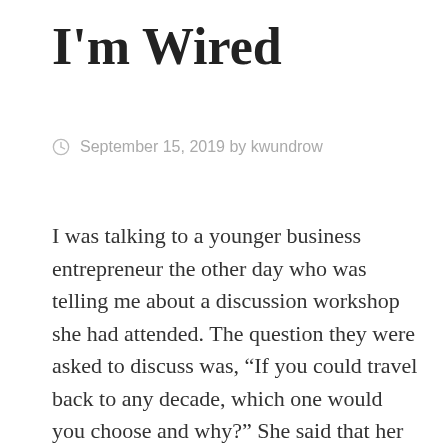I'm Wired
September 15, 2019 by kwundrow
I was talking to a younger business entrepreneur the other day who was telling me about a discussion workshop she had attended. The question they were asked to discuss was, “If you could travel back to any decade, which one would you choose and why?” She said that her group chose the 90’s. My thought, the “Gay 90’s” but no, not that century, the “Tech 90’s”. Now I would have gone back to the 1890’s when the really big, as in large, inventions were being created, but